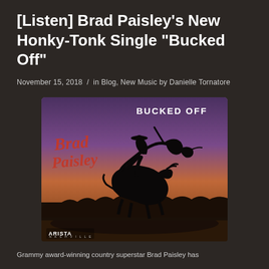[Listen] Brad Paisley's New Honky-Tonk Single "Bucked Off"
November 15, 2018 / in Blog, New Music by Danielle Tornatore
[Figure (photo): Album cover for Brad Paisley's single 'Bucked Off'. Shows a silhouette of a cowboy being bucked off a bull while holding a guitar, against a purple and orange sunset sky. Text reads 'Brad Paisley' in red script and 'BUCKED OFF' in white. Arista Nashville logo in bottom left.]
Grammy award-winning country superstar Brad Paisley has